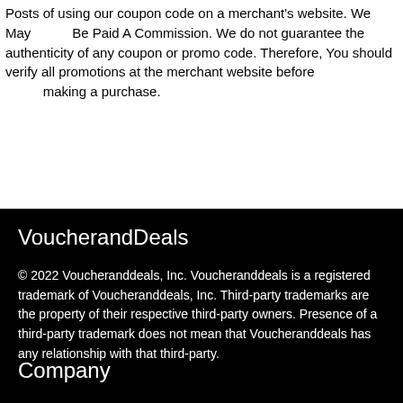Posts of using our coupon code on a merchant's website. We May Be Paid A Commission. We do not guarantee the authenticity of any coupon or promo code. Therefore, You should verify all promotions at the merchant website before making a purchase.
VoucherandDeals
© 2022 Voucheranddeals, Inc. Voucheranddeals is a registered trademark of Voucheranddeals, Inc. Third-party trademarks are the property of their respective third-party owners. Presence of a third-party trademark does not mean that Voucheranddeals has any relationship with that third-party.
Company